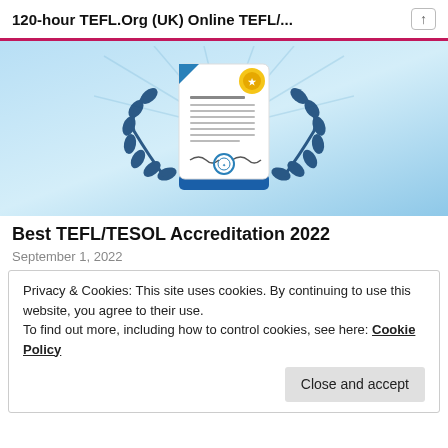120-hour TEFL.Org (UK) Online TEFL/...
[Figure (illustration): Illustration of a certificate/diploma document with a gold medal seal, blue laurel wreaths on both sides, and a blue hand holding it from below, on a light blue background with radiating light.]
Best TEFL/TESOL Accreditation 2022
September 1, 2022
Privacy & Cookies: This site uses cookies. By continuing to use this website, you agree to their use.
To find out more, including how to control cookies, see here: Cookie Policy
Close and accept